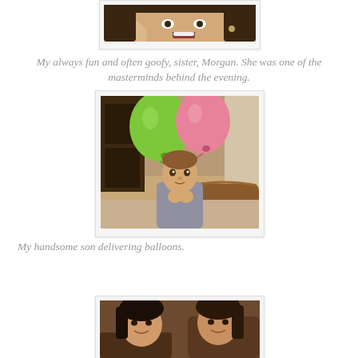[Figure (photo): Cropped top portion of a photo showing a woman with dark hair laughing/making a goofy face, with a baby visible to the left.]
My always fun and often goofy, sister, Morgan. She was one of the masterminds behind the evening.
[Figure (photo): A toddler holding two balloons — one green and one pink — on sticks, sitting in front of a brown piece of furniture. The background shows a room with a dark wooden dresser.]
My handsome son delivering balloons.
[Figure (photo): Bottom portion of a photo showing two women sitting together, partially visible, with brown cushions in the background.]